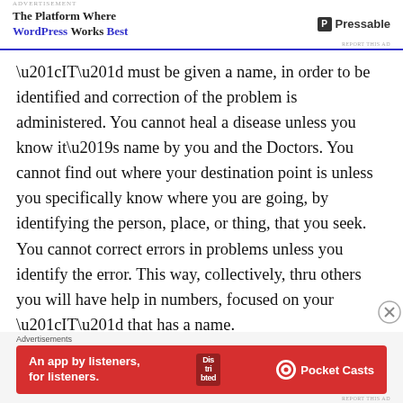[Figure (other): Advertisement banner: The Platform Where WordPress Works Best — Pressable logo]
“IT” must be given a name, in order to be identified and correction of the problem is administered. You cannot heal a disease unless you know it’s name by you and the Doctors. You cannot find out where your destination point is unless you specifically know where you are going, by identifying the person, place, or thing, that you seek. You cannot correct errors in problems unless you identify the error. This way, collectively, thru others you will have help in numbers, focused on your “IT” that has a name.
The greatest Teacher that has ever existed on earth, that
[Figure (other): Advertisement banner: An app by listeners, for listeners. — Pocket Casts]